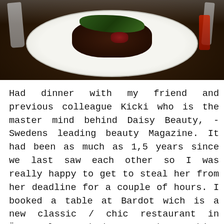[Figure (photo): A dark-colored meat dish with a green vegetable garnish on top, served on a white plate. Cutlery visible on the sides and a red element on the right edge.]
Had dinner with my friend and previous colleague Kicki who is the master mind behind Daisy Beauty, - Swedens leading beauty Magazine. It had been as much as 1,5 years since we last saw each other so I was really happy to get to steal her from her deadline for a couple of hours. I booked a table at Bardot wich is a new classic / chic restaurant in Östermalm. I had expected something somewhat calmer (we tend to speak a lot so when it gets too loud it's tiring to sit and yell for 3 hours) but it was full on party at 21. The food was great with an exception from a